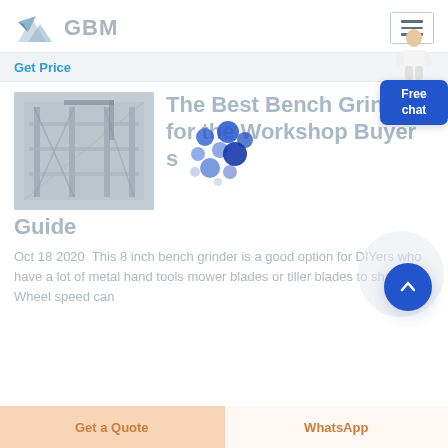[Figure (logo): GBM logo with mountain/paper plane icon and grey GBM text]
[Figure (other): Hamburger menu button (three horizontal lines in a bordered box)]
Get Price
[Figure (photo): Industrial machinery or scaffolding structure, black and white/grey photo]
The Best Bench Grinders for the Workshop Buyer s Guide
Oct 18 2020  This 8 inch bench grinder is a good option for DIYers who have a lot of metal hand tools mower blades or tiller blades to sharpen Wheel speed can
[Figure (other): Free chat widget with person illustration and blue Free chat button]
[Figure (other): Loading spinner animation dots]
[Figure (other): Scroll-to-top circular blue button with upward chevron]
Get a Quote
WhatsApp